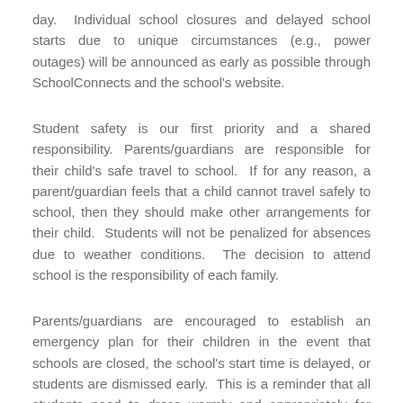day.  Individual school closures and delayed school starts due to unique circumstances (e.g., power outages) will be announced as early as possible through SchoolConnects and the school's website.
Student safety is our first priority and a shared responsibility.  Parents/guardians are responsible for their child's safe travel to school.  If for any reason, a parent/guardian feels that a child cannot travel safely to school, then they should make other arrangements for their child.  Students will not be penalized for absences due to weather conditions.  The decision to attend school is the responsibility of each family.
Parents/guardians are encouraged to establish an emergency plan for their children in the event that schools are closed, the school's start time is delayed, or students are dismissed early.  This is a reminder that all students need to dress warmly and appropriately for winter weather conditions.